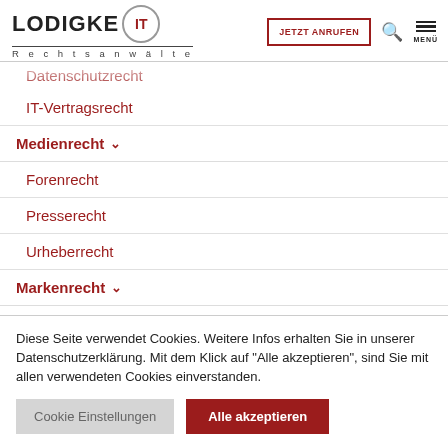LODIGKE IT Rechtsanwälte — JETZT ANRUFEN
Datenschutzrecht
IT-Vertragsrecht
Medienrecht
Forenrecht
Presserecht
Urheberrecht
Markenrecht
Diese Seite verwendet Cookies. Weitere Infos erhalten Sie in unserer Datenschutzerklärung. Mit dem Klick auf "Alle akzeptieren", sind Sie mit allen verwendeten Cookies einverstanden.
Cookie Einstellungen | Alle akzeptieren